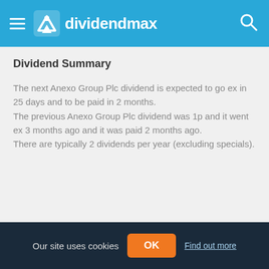dividendmax
Dividend Summary
The next Anexo Group Plc dividend is expected to go ex in 25 days and to be paid in 2 months. The previous Anexo Group Plc dividend was 1p and it went ex 3 months ago and it was paid 2 months ago. There are typically 2 dividends per year (excluding specials).
Our site uses cookies  OK  Find out more